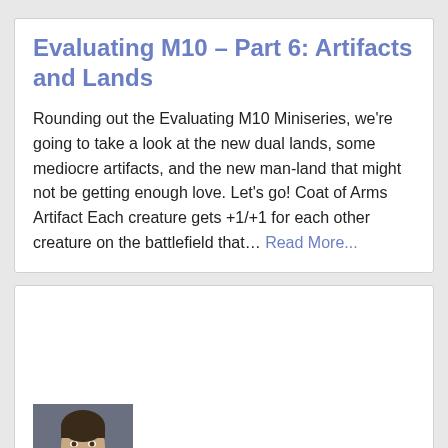Evaluating M10 – Part 6: Artifacts and Lands
Rounding out the Evaluating M10 Miniseries, we're going to take a look at the new dual lands, some mediocre artifacts, and the new man-land that might not be getting enough love. Let's go! Coat of Arms Artifact Each creature gets +1/+1 for each other creature on the battlefield that…
Read More...
[Figure (photo): Author photo of Kelly Reid, a man with short dark hair and beard looking at camera]
By Kelly Reid | Thu 7/2/09